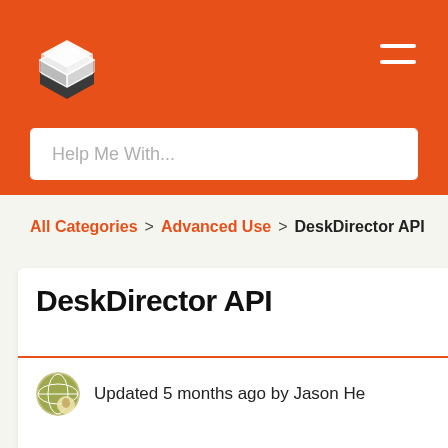[Figure (logo): DeskDirector logo — white geometric cube/box shape on orange background]
Help Me With...
All Categories > Advanced Use > DeskDirector API
DeskDirector API
Updated 5 months ago by Jason He